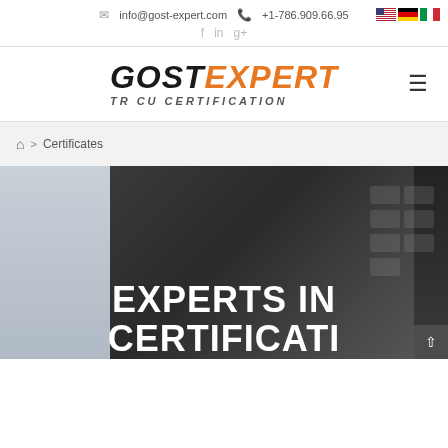info@gost-expert.com  +1-786.909.66.95
[Figure (logo): GOST EXPERT TR CU CERTIFICATION logo with orange EXPERT text and dark GOST text, italic bold style]
🏠 > Certificates
[Figure (photo): Hero banner with dark background showing laptop keyboard, text EXPERTS IN CERTIFICATI (partially visible)]